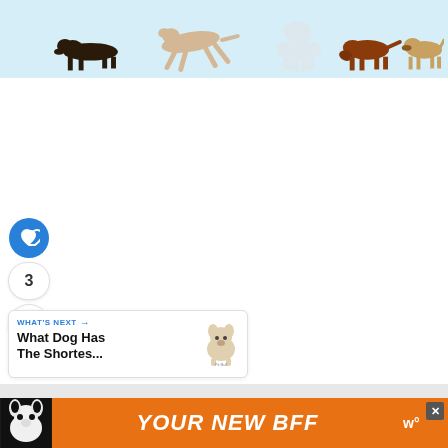[Figure (illustration): Row of illustrated dog breeds on a light blue background: dachshund, greyhound, poodle, brown/red dog, beagle, and partial views of other breeds]
[Figure (infographic): Social interaction sidebar with a blue heart/like button, count of 3, and a share button]
3
[Figure (infographic): WHAT'S NEXT card with text: What Dog Has The Shortes... and a dog breed thumbnail illustration]
[Figure (photo): Orange advertisement banner with black and white dog photo and bold white italic text YOUR NEW BFF, with brand logo and close button]